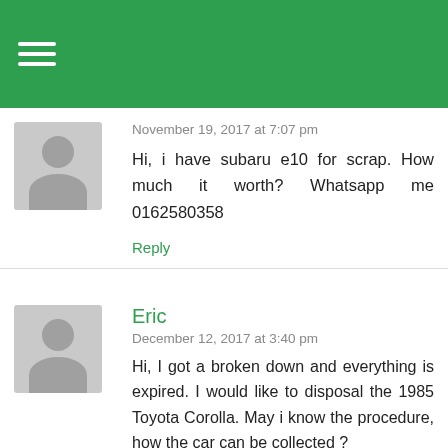≡
November 19, 2017 at 7:07 pm
Hi, i have subaru e10 for scrap. How much it worth? Whatsapp me 0162580358
Reply
Eric
December 12, 2017 at 3:40 pm
Hi, I got a broken down and everything is expired. I would like to disposal the 1985 Toyota Corolla. May i know the procedure, how the car can be collected ?
Reply